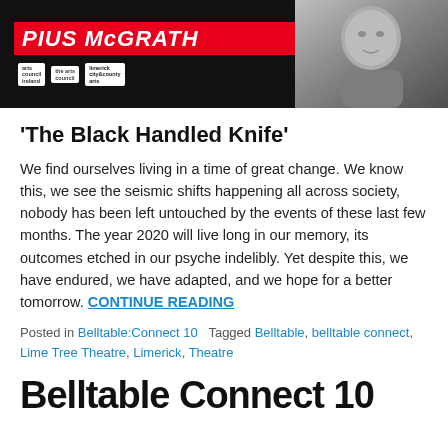[Figure (photo): Banner image showing 'PIUS MCGRATH' text in red italic on black background with arts council logos on the left, and a black-and-white portrait photo of a man on the right.]
‘The Black Handled Knife’
We find ourselves living in a time of great change. We know this, we see the seismic shifts happening all across society, nobody has been left untouched by the events of these last few months. The year 2020 will live long in our memory, its outcomes etched in our psyche indelibly. Yet despite this, we have endured, we have adapted, and we hope for a better tomorrow. CONTINUE READING
Posted in Belltable:Connect 10  Tagged Belltable, belltable connect, Lime Tree Theatre, Limerick, Theatre
Belltable Connect 10